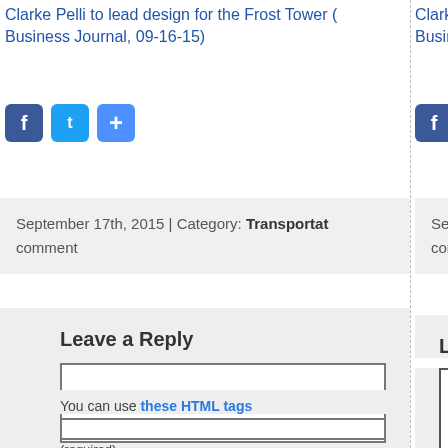Clarke Pelli to lead design for the Frost Tower (Business Journal, 09-16-15)
[Figure (other): Social share buttons: Facebook, Twitter, and a plus/share button]
September 17th, 2015 | Category: Transportation comment
Leave a Reply
You can use these HTML tags
(required)